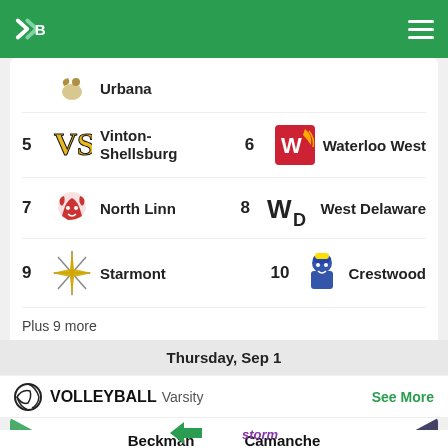Bound Sports App Header
Urbana
5 Vinton-Shellsburg   6 Waterloo West
7 North Linn   8 West Delaware
9 Starmont   10 Crestwood
Plus 9 more
8/30 · 4:15 PM CT   HICKORY GROVE GOLF COURSE
Thursday, Sep 1
VOLLEYBALL Varsity   See More
Beckman Catholic   Camanche Varsity (2-2)